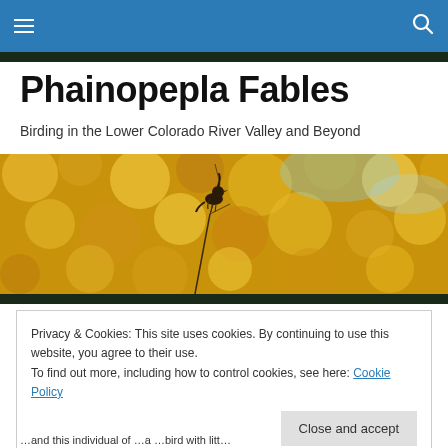Phainopepla Fables — navigation bar with hamburger menu and search icon
Phainopepla Fables
Birding in the Lower Colorado River Valley and Beyond
[Figure (photo): A small bird perched on a bare twig against a bokeh background of golden yellow autumn leaves and blue sky]
Privacy & Cookies: This site uses cookies. By continuing to use this website, you agree to their use.
To find out more, including how to control cookies, see here: Cookie Policy
Close and accept
…and this individual of …a …bird with litt…